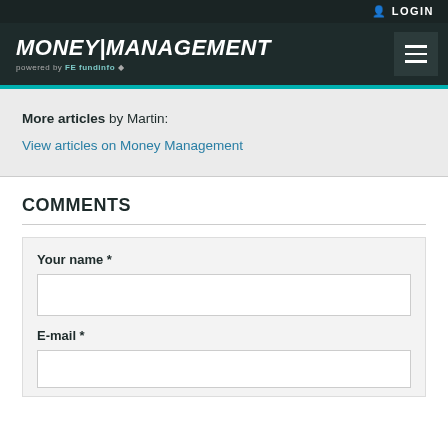LOGIN
MONEY|MANAGEMENT powered by FE fundinfo
More articles by Martin:
View articles on Money Management
COMMENTS
Your name *
E-mail *